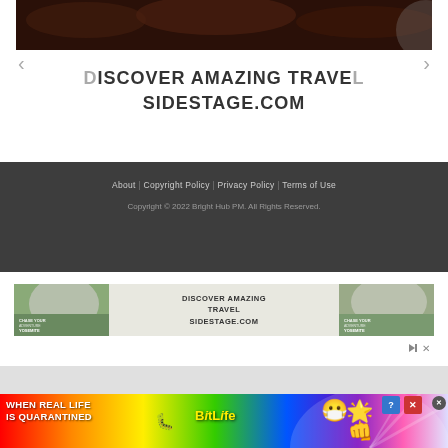[Figure (screenshot): Dark reddish-brown canyon rock image strip at top]
DISCOVER AMAZING TRAVEL
SIDESTAGE.COM
About | Copyright Policy | Privacy Policy | Terms of Use
Copyright © 2022 Bright Hub PM. All Rights Reserved.
[Figure (screenshot): Advertisement banner: DISCOVER AMAZING TRAVEL SIDESTAGE.COM with Yosemite images on both sides]
[Figure (screenshot): BitLife advertisement banner: WHEN REAL LIFE IS QUARANTINED with rainbow background and emoji icons]